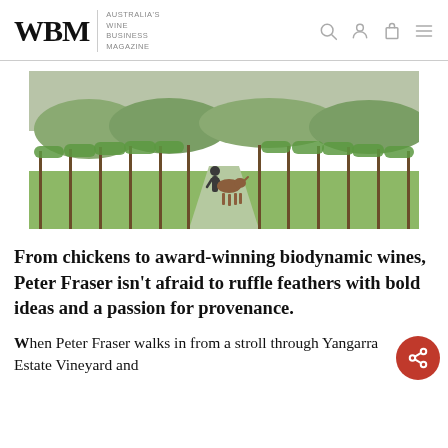WBM — Australia's Wine Business Magazine
[Figure (photo): A person walking through vineyard rows with a horse, green vines on either side, overcast sky and trees in background]
From chickens to award-winning biodynamic wines, Peter Fraser isn't afraid to ruffle feathers with bold ideas and a passion for provenance.
When Peter Fraser walks in from a stroll through Yangarra Estate Vineyard and